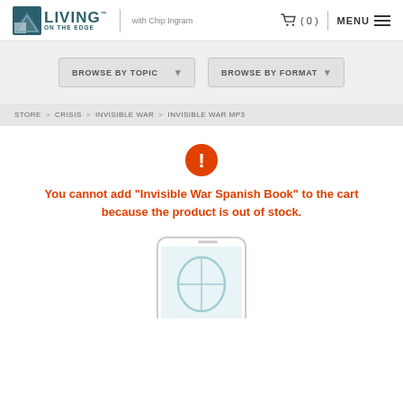LIVING ON THE EDGE with Chip Ingram | (0) | MENU
BROWSE BY TOPIC | BROWSE BY FORMAT
STORE > CRISIS > INVISIBLE WAR > INVISIBLE WAR MP3
You cannot add "Invisible War Spanish Book" to the cart because the product is out of stock.
[Figure (illustration): Partial view of a white smartphone showing a blue/teal graphic on its screen, cropped at bottom of page]